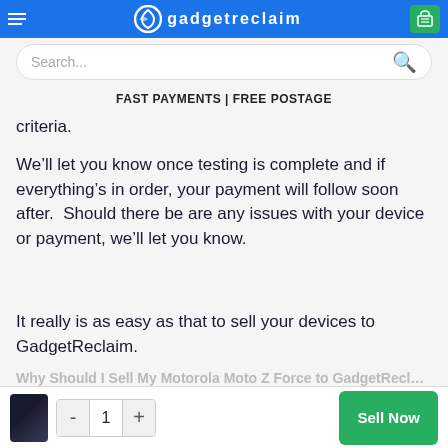gadgetreclaim — FAST PAYMENTS | FREE POSTAGE
criteria.
We’ll let you know once testing is complete and if everything’s in order, your payment will follow soon after.  Should there be are any issues with your device or payment, we’ll let you know.
It really is as easy as that to sell your devices to GadgetReclaim.
Why Should I Sell My Motorola Moto Z Force to GadgetRecl...